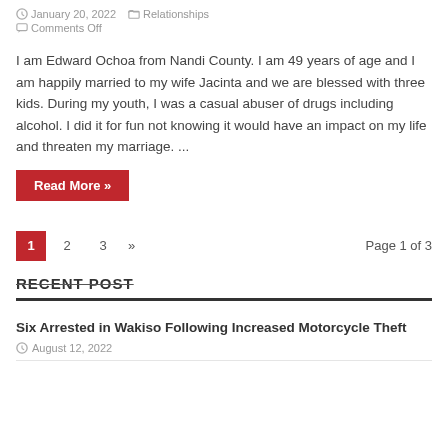January 20, 2022  Relationships  Comments Off
I am Edward Ochoa from Nandi County. I am 49 years of age and I am happily married to my wife Jacinta and we are blessed with three kids. During my youth, I was a casual abuser of drugs including alcohol. I did it for fun not knowing it would have an impact on my life and threaten my marriage. ...
Read More »
1  2  3  »  Page 1 of 3
RECENT POST
Six Arrested in Wakiso Following Increased Motorcycle Theft
August 12, 2022